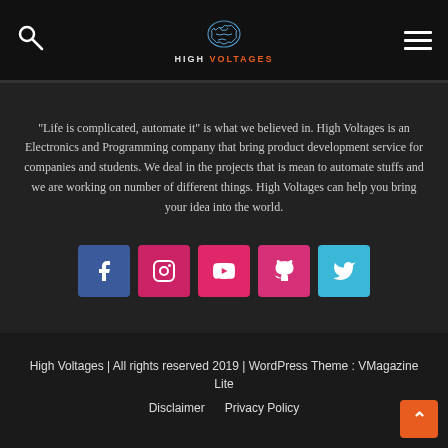High Voltages - navigation header with search icon, logo, and menu icon
"Life is complicated, automate it" is what we believed in. High Voltages is an Electronics and Programming company that bring product development service for companies and students. We deal in the projects that is mean to automate stuffs and we are working on number of different things. High Voltages can help you bring your idea into the world.
[Figure (infographic): Row of 5 social media icon buttons: Facebook (blue), Instagram (pink), YouTube (pink), GitHub (pink), Twitter (light blue)]
High Voltages | All rights reserved 2019 | WordPress Theme : VMagazine Lite
Disclaimer   Privacy Policy